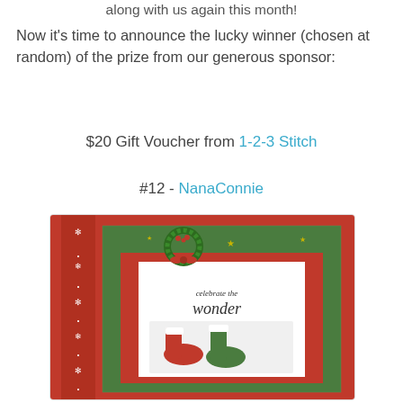along with us again this month!
Now it's time to announce the lucky winner (chosen at random) of the prize from our generous sponsor:
$20 Gift Voucher from 1-2-3 Stitch
#12 - NanaConnie
[Figure (photo): A handmade Christmas card featuring a red background with a green patterned layer, red ribbon with white snowflakes on the left, a glittery wreath embellishment at top, and a white card panel reading 'celebrate the wonder' with illustrated Christmas stockings.]